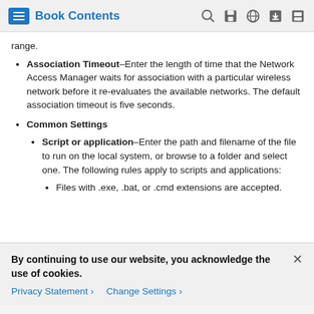Book Contents
range.
Association Timeout–Enter the length of time that the Network Access Manager waits for association with a particular wireless network before it re-evaluates the available networks. The default association timeout is five seconds.
Common Settings
Script or application–Enter the path and filename of the file to run on the local system, or browse to a folder and select one. The following rules apply to scripts and applications:
Files with .exe, .bat, or .cmd extensions are accepted.
By continuing to use our website, you acknowledge the use of cookies.
Privacy Statement > Change Settings >